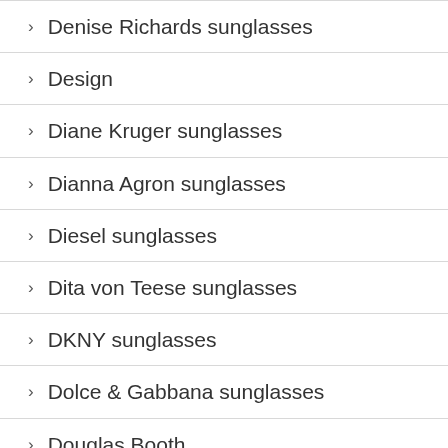> Denise Richards sunglasses
> Design
> Diane Kruger sunglasses
> Dianna Agron sunglasses
> Diesel sunglasses
> Dita von Teese sunglasses
> DKNY sunglasses
> Dolce & Gabbana sunglasses
> Douglas Booth